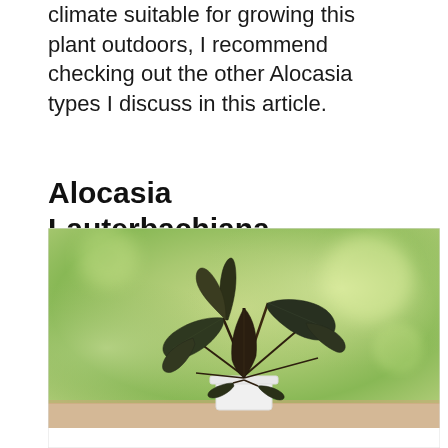climate suitable for growing this plant outdoors, I recommend checking out the other Alocasia types I discuss in this article.
Alocasia Lauterbachiana
[Figure (photo): Photo of an Alocasia Lauterbachiana plant with dark elongated serrated leaves in a white pot, set against a blurred green background on a light wooden surface.]